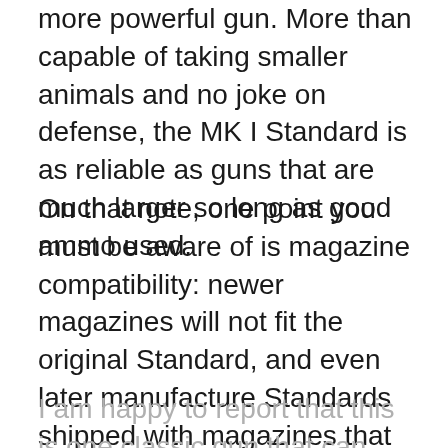more powerful gun. More than capable of taking smaller animals and no joke on defense, the MK I Standard is as reliable as guns that are much larger so long as good ammo used.
On that note, one point you must be aware of is magazine compatibility: newer magazines will not fit the original Standard, and even later manufacture Standards shipped with magazines that would not fit the earlier guns! If you have an early Standard and know all your magazines work, you will be good to go, just don't expect to find any easily in your travels! Take extra special care of the magazines you have.
I am happy to report that this is one classic gun that can hang with the most modern of